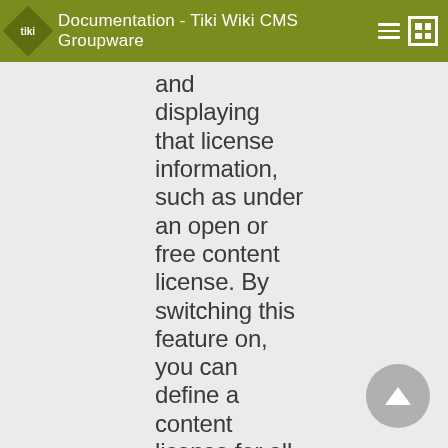Documentation - Tiki Wiki CMS Groupware
and displaying that license information, such as under an open or free content license. By switching this feature on, you can define a content license for all your wiki content, associate